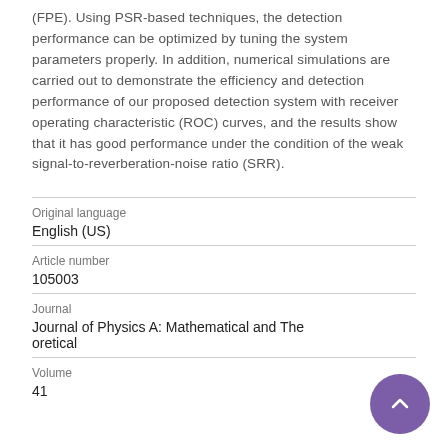(FPE). Using PSR-based techniques, the detection performance can be optimized by tuning the system parameters properly. In addition, numerical simulations are carried out to demonstrate the efficiency and detection performance of our proposed detection system with receiver operating characteristic (ROC) curves, and the results show that it has good performance under the condition of the weak signal-to-reverberation-noise ratio (SRR).
| Field | Value |
| --- | --- |
| Original language | English (US) |
| Article number | 105003 |
| Journal | Journal of Physics A: Mathematical and Theoretical |
| Volume | 41 |